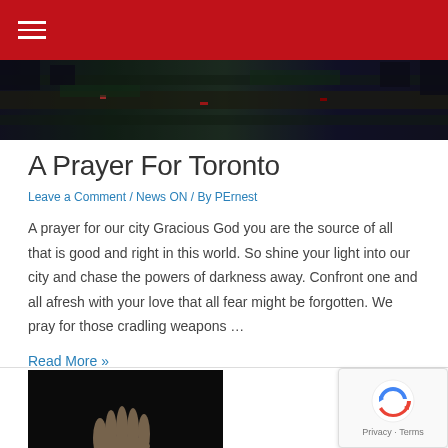Navigation header with hamburger menu on red background
[Figure (photo): Aerial city view photo strip showing roads and traffic at night]
A Prayer For Toronto
Leave a Comment / News ON / By PErnest
A prayer for our city Gracious God you are the source of all that is good and right in this world. So shine your light into our city and chase the powers of darkness away. Confront one and all afresh with your love that all fear might be forgotten. We pray for those cradling weapons …
Read More »
[Figure (photo): Photo of hands (appears to be praying hands) against dark background]